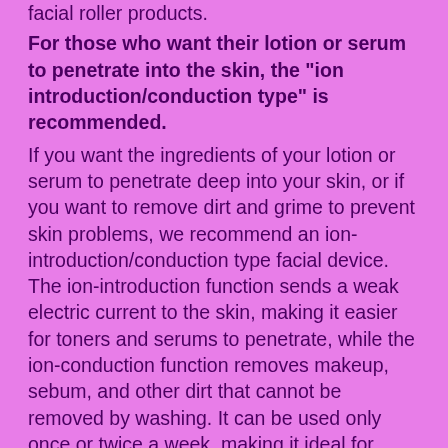facial roller products.
For those who want their lotion or serum to penetrate into the skin, the "ion introduction/conduction type" is recommended.
If you want the ingredients of your lotion or serum to penetrate deep into your skin, or if you want to remove dirt and grime to prevent skin problems, we recommend an ion-introduction/conduction type facial device. The ion-introduction function sends a weak electric current to the skin, making it easier for toners and serums to penetrate, while the ion-conduction function removes makeup, sebum, and other dirt that cannot be removed by washing. It can be used only once or twice a week, making it ideal for busy people.
For those who don't have time for skin care, we recommend a "quick care" product.
It is important to keep up with your skincare